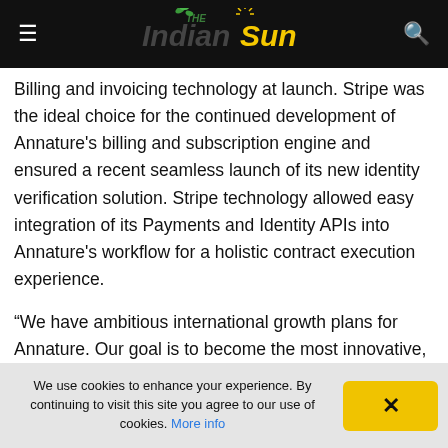The Indian Sun
Billing and invoicing technology at launch. Stripe was the ideal choice for the continued development of Annature's billing and subscription engine and ensured a recent seamless launch of its new identity verification solution. Stripe technology allowed easy integration of its Payments and Identity APIs into Annature's workflow for a holistic contract execution experience.
“We have ambitious international growth plans for Annature. Our goal is to become the most innovative, Australian-owned online platform for eSigning and ID verification,” outlined CEO and Founder Amreeta Abbott. “And it’s extremely pleasing to see we
We use cookies to enhance your experience. By continuing to visit this site you agree to our use of cookies. More info